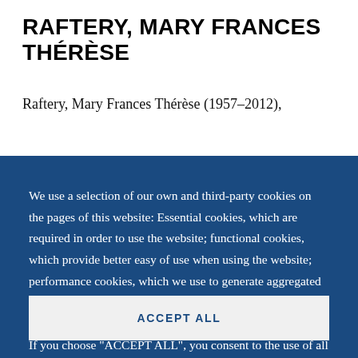RAFTERY, MARY FRANCES THÉRÈSE
Raftery, Mary Frances Thérèse (1957–2012),
We use a selection of our own and third-party cookies on the pages of this website: Essential cookies, which are required in order to use the website; functional cookies, which provide better easy of use when using the website; performance cookies, which we use to generate aggregated data on website use and statistics; and marketing cookies, which are used to display relevant content and advertising. If you choose "ACCEPT ALL", you consent to the use of all cookies. You can accept and
ACCEPT ALL